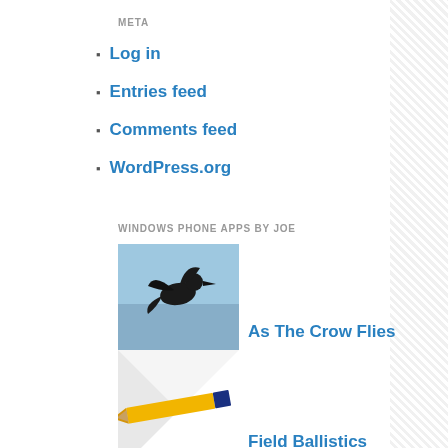META
Log in
Entries feed
Comments feed
WordPress.org
WINDOWS PHONE APPS BY JOE
[Figure (photo): Crow flying against a blue sky]
As The Crow Flies
[Figure (photo): A yellow and blue pencil on a white surface]
Field Ballistics
BOOMERSHOOT
Boomershoot Webcam
Boomershoot Info
Boomershoot 2022 entry!
PARTNERS